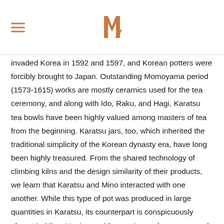[hamburger menu icon] [logo: stylized M in brown/copper color]
invaded Korea in 1592 and 1597, and Korean potters were forcibly brought to Japan. Outstanding Momoyama period (1573-1615) works are mostly ceramics used for the tea ceremony, and along with Ido, Raku, and Hagi, Karatsu tea bowls have been highly valued among masters of tea from the beginning. Karatsu jars, too, which inherited the traditional simplicity of the Korean dynasty era, have long been highly treasured. From the shared technology of climbing kilns and the design similarity of their products, we learn that Karatsu and Mino interacted with one another. While this type of pot was produced in large quantities in Karatsu, its counterpart is conspicuously absent in Mino. Having a wide opening and a pronounced shoulder near the top, this jar is a good example of this type of Karatsu ware. Over three parts of the surface of the pot, there are distinctive patterns